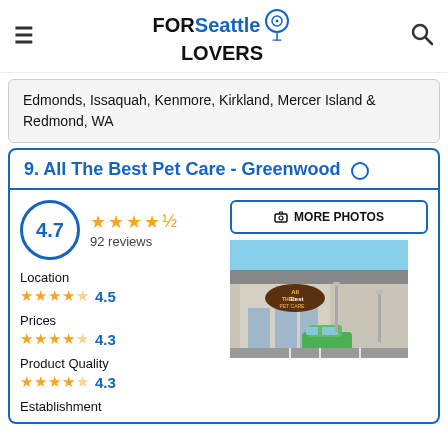FOR Seattle LOVERS
Edmonds, Issaquah, Kenmore, Kirkland, Mercer Island & Redmond, WA
9. All The Best Pet Care - Greenwood
4.7 — 92 reviews
Location 4.5
Prices 4.3
Product Quality 4.3
Establishment
[Figure (photo): Storefront of All The Best Pet Care - Greenwood, showing a commercial building with a green car parked in front]